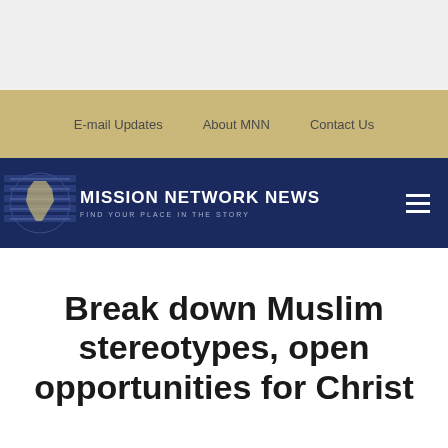E-mail Updates  About MNN  Contact Us
[Figure (logo): Mission Network News logo with globe graphic on dark navy background. Text reads: MISSION NETWORK NEWS / FIND YOUR PLACE IN THE STORY]
Break down Muslim stereotypes, open opportunities for Christ